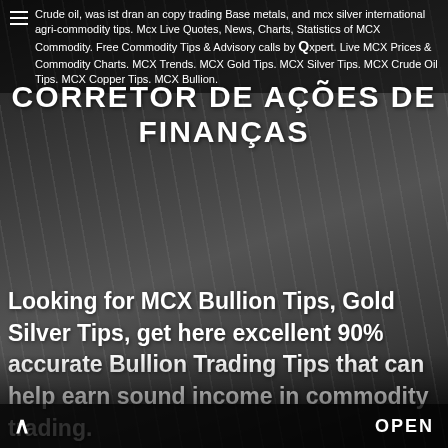Crude oil, was ist dran an copy trading Base metals, and mcx silver international agri-commodity tips. Mcx Live Quotes, News, Charts, Statistics of MCX Commodity. Free Commodity Tips & Advisory calls by Expert. Live MCX Prices & Commodity Charts. MCX Trends. MCX Gold Tips. MCX Silver Tips. MCX Crude Oil Tips. MCX Copper Tips. MCX Bullion.
CORRETOR DE AÇÕES DE FINANÇAS
Looking for MCX Bullion Tips, Gold Silver Tips, get here excellent 90% accurate Bullion Trading Tips that can help earn sound income in commodity trading.
Rn Work From Home Jobs New Mexico! Work From Home Jobs In Nicaragua! Best Option Trading Commissions! Cryptocurrency trading platform bitcoin gold. Bitcoin crypto market share. Camara de comercio master online. Work from home mortgage
∧  OPEN